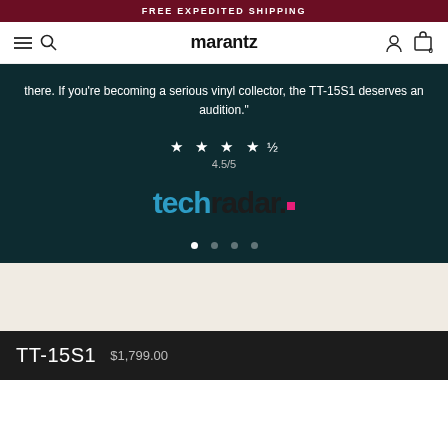FREE EXPEDITED SHIPPING
[Figure (logo): Marantz website navigation bar with hamburger menu, search icon, marantz logo, user icon, and shopping cart (0)]
there. If you're becoming a serious vinyl collector, the TT-15S1 deserves an audition."
★ ★ ★ ★ ½  4.5/5
[Figure (logo): TechRadar logo in dark teal background - tech in blue, radar in dark/black, with magenta square dot]
Product name: TT-15S1  Price: $1,799.00